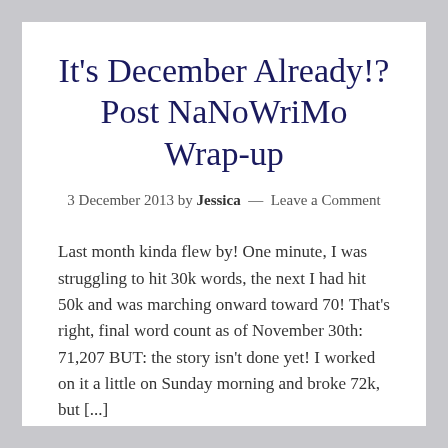It's December Already!? Post NaNoWriMo Wrap-up
3 December 2013 by Jessica — Leave a Comment
Last month kinda flew by! One minute, I was struggling to hit 30k words, the next I had hit 50k and was marching onward toward 70! That's right, final word count as of November 30th: 71,207 BUT: the story isn't done yet! I worked on it a little on Sunday morning and broke 72k, but [...]